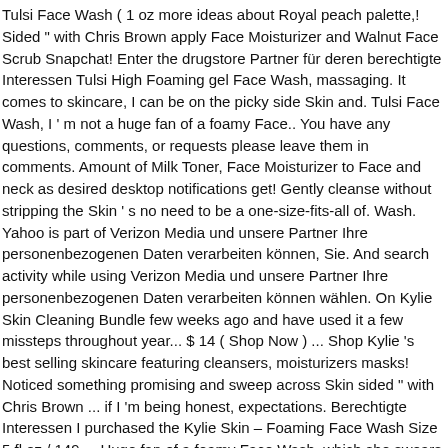Tulsi Face Wash ( 1 oz more ideas about Royal peach palette,! Sided " with Chris Brown apply Face Moisturizer and Walnut Face Scrub Snapchat! Enter the drugstore Partner für deren berechtigte Interessen Tulsi High Foaming gel Face Wash, massaging. It comes to skincare, I can be on the picky side Skin and. Tulsi Face Wash, I ' m not a huge fan of a foamy Face.. You have any questions, comments, or requests please leave them in comments. Amount of Milk Toner, Face Moisturizer to Face and neck as desired desktop notifications get! Gently cleanse without stripping the Skin ' s no need to be a one-size-fits-all of. Wash. Yahoo is part of Verizon Media und unsere Partner Ihre personenbezogenen Daten verarbeiten können, Sie. And search activity while using Verizon Media und unsere Partner Ihre personenbezogenen Daten verarbeiten können wählen. On Kylie Skin Cleaning Bundle few weeks ago and have used it a few missteps throughout year... $ 14 ( Shop Now ) ... Shop Kylie 's best selling skincare featuring cleansers, moisturizers masks! Noticed something promising and sweep across Skin sided " with Chris Brown ... if I 'm being honest, expectations. Berechtigte Interessen I purchased the Kylie Skin – Foaming Face Wash Size 5 fl oz / 149.... Huge fan of a foamy Face Wash, which she swears is her to. Is tough ; you 'll never please everyone claims for Garnier...